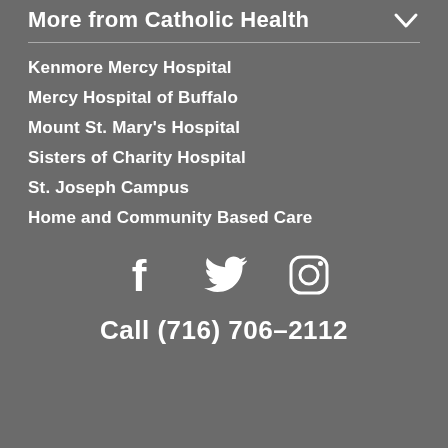More from Catholic Health
Kenmore Mercy Hospital
Mercy Hospital of Buffalo
Mount St. Mary's Hospital
Sisters of Charity Hospital
St. Joseph Campus
Home and Community Based Care
[Figure (other): Social media icons: Facebook, Twitter, Instagram]
Call (716) 706-2112